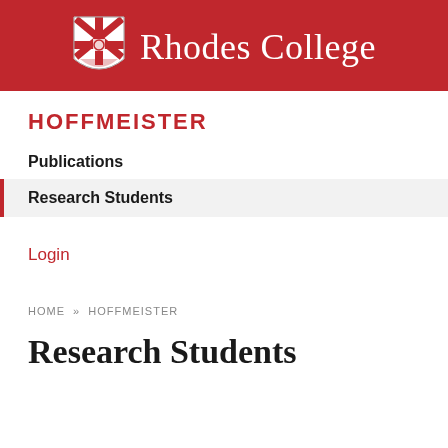[Figure (logo): Rhodes College header with shield logo and college name in white serif text on red background]
HOFFMEISTER
Publications
Research Students
Login
HOME » HOFFMEISTER
Research Students